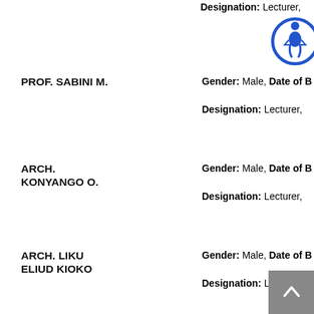Designation: Lecturer,
PROF. SABINI M.
Gender: Male, Date of Birth: ...
Designation: Lecturer,
ARCH. KONYANGO O.
Gender: Male, Date of Birth: ...
Designation: Lecturer,
ARCH. LIKU ELIUD KIOKO
Gender: Male, Date of Birth: ...
Designation: Lecturer,
ARCH. IRURAH DANIEL K
Gender: Male, Date of Birth: ...
Designation: Lecturer,
ARCH. UGBABE
Gender: Male, Date of Birth: ...